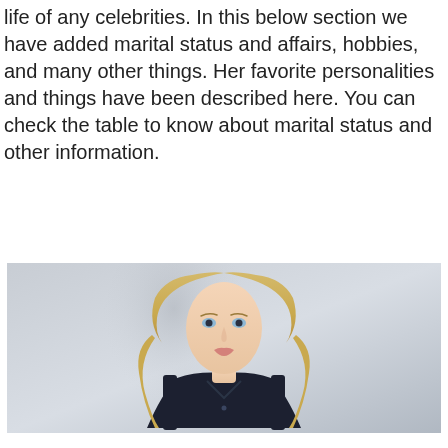life of any celebrities. In this below section we have added marital status and affairs, hobbies, and many other things. Her favorite personalities and things have been described here. You can check the table to know about marital status and other information.
[Figure (photo): Professional headshot of a blonde woman with blue eyes wearing a dark sleeveless top, photographed against a light grey background.]